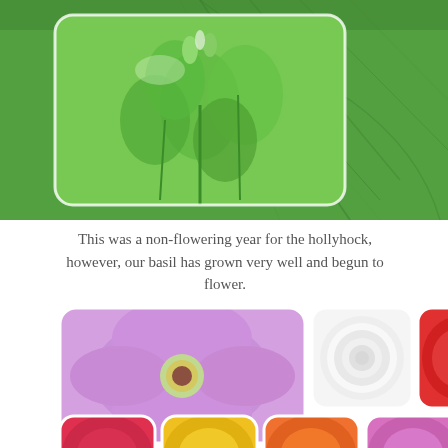[Figure (photo): Collage of two plant photos at top: left shows basil plant with bright green leaves (rounded card), right shows large textured hollyhock leaves in green]
This was a non-flowering year for the hollyhock, however, our basil has grown very well and begun to flower.
[Figure (photo): Collage of flower photos: top row shows three zinnias — purple, white, and red; bottom row shows four partial flower photos — red, yellow, orange, and purple flowers, all with rounded card styling]